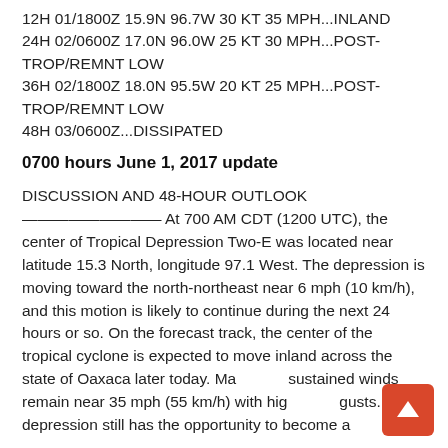12H 01/1800Z 15.9N 96.7W 30 KT 35 MPH...INLAND
24H 02/0600Z 17.0N 96.0W 25 KT 30 MPH...POST-TROP/REMNT LOW
36H 02/1800Z 18.0N 95.5W 20 KT 25 MPH...POST-TROP/REMNT LOW
48H 03/0600Z...DISSIPATED
0700 hours June 1, 2017 update
DISCUSSION AND 48-HOUR OUTLOOK
————————— At 700 AM CDT (1200 UTC), the center of Tropical Depression Two-E was located near latitude 15.3 North, longitude 97.1 West. The depression is moving toward the north-northeast near 6 mph (10 km/h), and this motion is likely to continue during the next 24 hours or so. On the forecast track, the center of the tropical cyclone is expected to move inland across the state of Oaxaca later today. Maximum sustained winds remain near 35 mph (55 km/h) with higher gusts. The depression still has the opportunity to become a